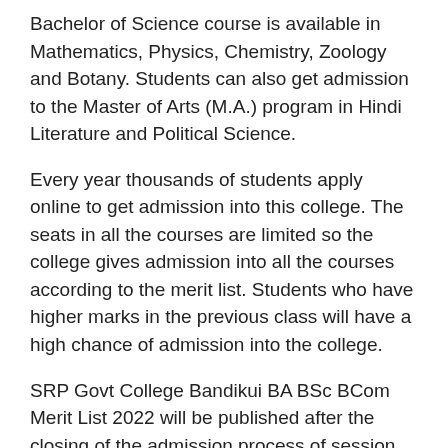Bachelor of Science course is available in Mathematics, Physics, Chemistry, Zoology and Botany. Students can also get admission to the Master of Arts (M.A.) program in Hindi Literature and Political Science.
Every year thousands of students apply online to get admission into this college. The seats in all the courses are limited so the college gives admission into all the courses according to the merit list. Students who have higher marks in the previous class will have a high chance of admission into the college.
SRP Govt College Bandikui BA BSc BCom Merit List 2022 will be published after the closing of the admission process of session 2022-23. If you applied for admission online, you can check the admission cut off marks at the end of the article.